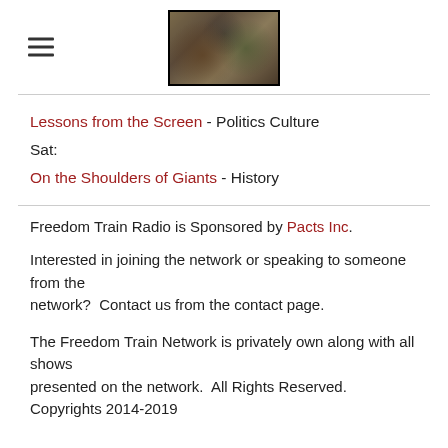[Figure (screenshot): Website header with hamburger menu icon on the left and a thumbnail image in the center showing a mossy/nature themed graphic]
Lessons from the Screen - Politics Culture
Sat:
On the Shoulders of Giants - History
Freedom Train Radio is Sponsored by Pacts Inc.
Interested in joining the network or speaking to someone from the network?  Contact us from the contact page.
The Freedom Train Network is privately own along with all shows presented on the network.  All Rights Reserved.
Copyrights 2014-2019